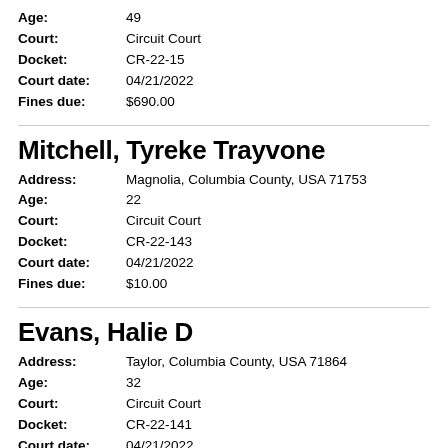Age: 49
Court: Circuit Court
Docket: CR-22-15
Court date: 04/21/2022
Fines due: $690.00
Mitchell, Tyreke Trayvone
Address: Magnolia, Columbia County, USA 71753
Age: 22
Court: Circuit Court
Docket: CR-22-143
Court date: 04/21/2022
Fines due: $10.00
Evans, Halie D
Address: Taylor, Columbia County, USA 71864
Age: 32
Court: Circuit Court
Docket: CR-22-141
Court date: 04/21/2022
Fines due: $10.00